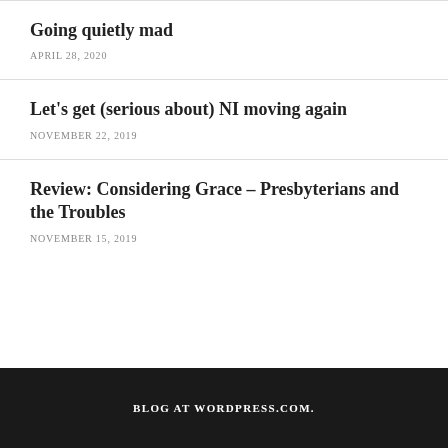Going quietly mad
APRIL 28, 2020
Let's get (serious about) NI moving again
NOVEMBER 22, 2019
Review: Considering Grace – Presbyterians and the Troubles
NOVEMBER 15, 2019
BLOG AT WORDPRESS.COM.